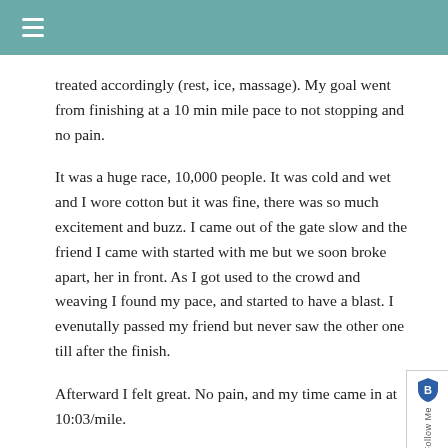☰
treated accordingly (rest, ice, massage). My goal went from finishing at a 10 min mile pace to not stopping and no pain.
It was a huge race, 10,000 people. It was cold and wet and I wore cotton but it was fine, there was so much excitement and buzz. I came out of the gate slow and the friend I came with started with me but we soon broke apart, her in front. As I got used to the crowd and weaving I found my pace, and started to have a blast. I evenutally passed my friend but never saw the other one till after the finish.
Afterward I felt great. No pain, and my time came in at 10:03/mile.